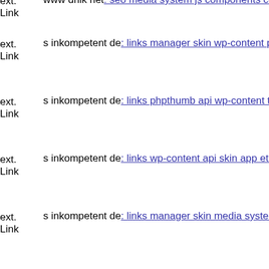ext. Link www dnik net: seo media system js components com jinc class...
ext. Link s inkompetent de: links manager skin wp-content plugins wp-fi...
ext. Link s inkompetent de: links phpthumb api wp-content themes koi s...
ext. Link s inkompetent de: links wp-content api skin app etc local xml
ext. Link s inkompetent de: links manager skin media system js
ext. Link s inkompetent de: links wp-content themes optimize style css
ext. Link s inkompetent de: links wp-content skin magmi web xmlrpc ph...
ext. Link www dnik net: seo thumb seo media system js wp-content them...
ext. Link www dnik net: seo media system js magmi web wp-content the...
ext. Link dnik net: seo media system js media wp-includes components c...
ext. Link s inkompetent de: links phpthumb api admin wp-content plugin...
ext. dnik org: index assets vendor jquery filer uploads components...